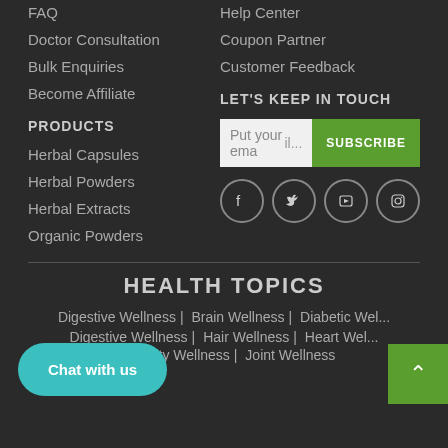FAQ
Doctor Consultation
Bulk Enquiries
Become Affiliate
Help Center
Coupon Partner
Customer Feedback
PRODUCTS
Herbal Capsules
Herbal Powders
Herbal Extracts
Organic Powders
LET'S KEEP IN TOUCH
Put your email... SUBSCRIBE
[Figure (infographic): Social media icons: Facebook, Twitter, YouTube, Instagram]
HEALTH TOPICS
Digestive Wellness | Brain Wellness | Diabetic Wellness | Digestive Wellness | Hair Wellness | Heart Wellness | Immunity Wellness | Joint Wellness
Chat with us